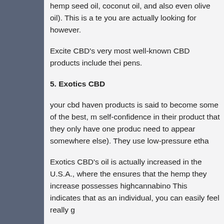hemp seed oil, coconut oil, and also even olive oil). This is a te... you are actually looking for however.
Excite CBD's very most well-known CBD products include thei... pens.
5. Exotics CBD
your cbd haven products is said to become some of the best, m... self-confidence in their product that they only have one produc... need to appear somewhere else). They use low-pressure etha...
Exotics CBD's oil is actually increased in the U.S.A., where the... ensures that the hemp they increase possesses highcannabi... This indicates that as an individual, you can easily feel really g...
Exotics CBD wants its own consumers to understand that each... as affirmed withthird-party lab end results. The third-party labo... cannabinoid amount on the tag) are actually definitely without c...